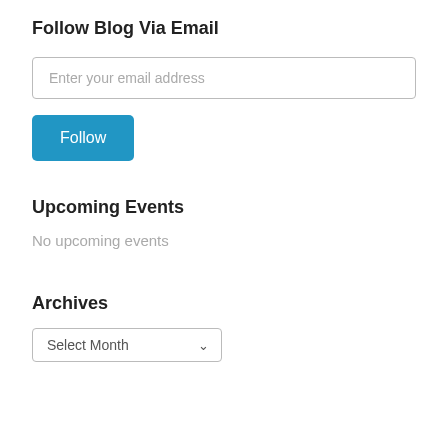Follow Blog Via Email
[Figure (screenshot): Email input field with placeholder text 'Enter your email address']
[Figure (screenshot): Blue 'Follow' button]
Upcoming Events
No upcoming events
Archives
[Figure (screenshot): Dropdown select box with 'Select Month' option]